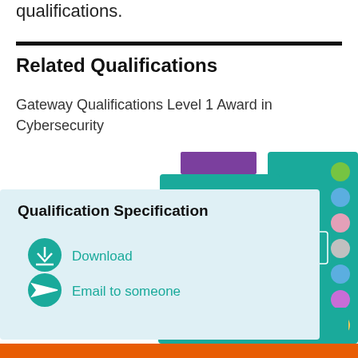qualifications.
Related Qualifications
Gateway Qualifications Level 1 Award in Cybersecurity
[Figure (infographic): Qualification Specification card with Download and Email to someone options on a light blue background, overlapping teal decorative cards with colored circle tabs on the right edge and a purple banner at top. An orange footer bar at the bottom of the page.]